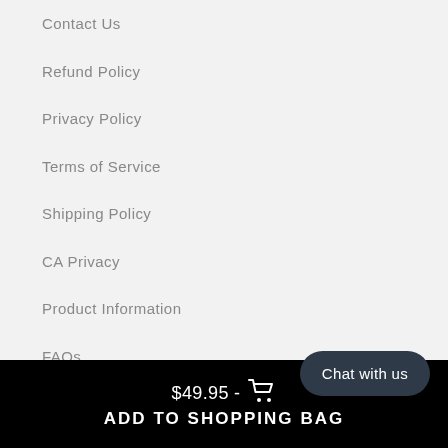Contact Us
Refund Policy
Privacy Policy
Terms of Service
Shipping Policy
CA Privacy
Product Information
FAQs
$49.95 - ADD TO SHOPPING BAG
Chat with us